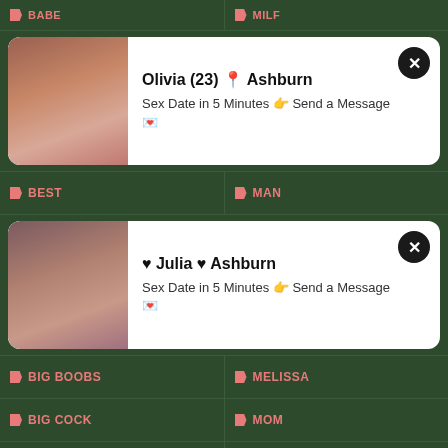BABE | MILF
[Figure (photo): Ad card for Olivia, 23, Ashburn with photo]
Olivia (23) 📍 Ashburn
Sex Date in 5 Minutes 👉 Send a Message 💌
BEST | MAN
[Figure (photo): Ad card for Julia, Ashburn with photo]
♥ Julia ♥ Ashburn
Sex Date in 5 Minutes 👉 Send a Message 💌
BIG BOOBS
MELISSA
BIG COCK
MOM
BIG DICK
MOORE
BIG PUSSY
MOST
BIG TITS
MOUTH